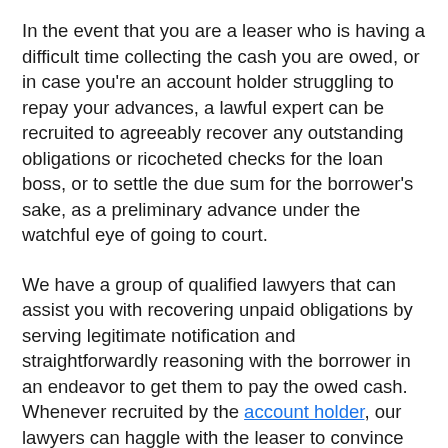In the event that you are a leaser who is having a difficult time collecting the cash you are owed, or in case you're an account holder struggling to repay your advances, a lawful expert can be recruited to agreeably recover any outstanding obligations or ricocheted checks for the loan boss, or to settle the due sum for the borrower's sake, as a preliminary advance under the watchful eye of going to court.
We have a group of qualified lawyers that can assist you with recovering unpaid obligations by serving legitimate notification and straightforwardly reasoning with the borrower in an endeavor to get them to pay the owed cash. Whenever recruited by the account holder, our lawyers can haggle with the leaser to convince them to either expand the